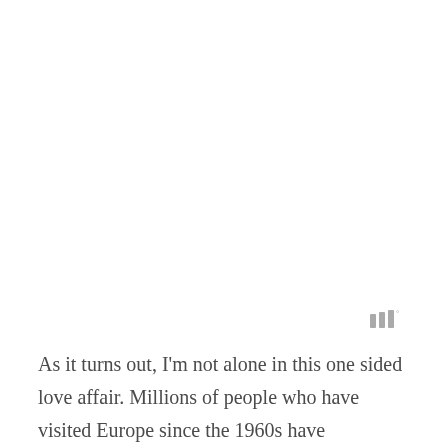[Figure (logo): Small grey icon resembling stylized letter W or sound bars with a degree symbol]
As it turns out, I'm not alone in this one sided love affair. Millions of people who have visited Europe since the 1960s have experienced both the confusion and subsequent joy caused by this strange cross between a meal and a snack.